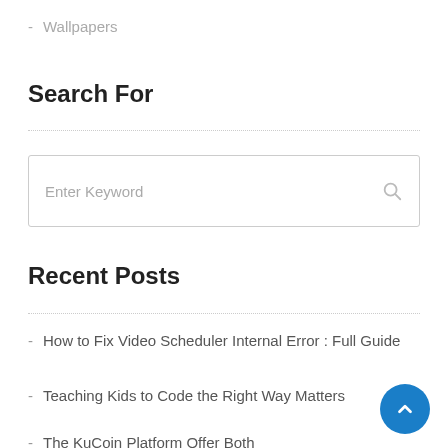- Wallpapers
Search For
[Figure (other): Search input box with 'Enter Keyword' placeholder text and a magnifying glass icon on the right]
Recent Posts
- How to Fix Video Scheduler Internal Error : Full Guide
- Teaching Kids to Code the Right Way Matters
- The KuCoin Platform Offer Both